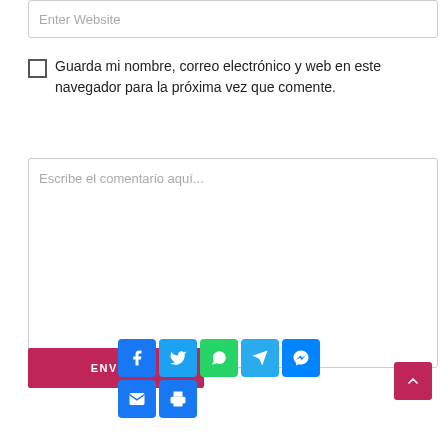Enter Website
Guarda mi nombre, correo electrónico y web en este navegador para la próxima vez que comente.
Escribe el comentario aquí...
ENVIAR
[Figure (screenshot): Social sharing buttons: Facebook, Twitter, WhatsApp, Telegram, Messenger, Email, Print]